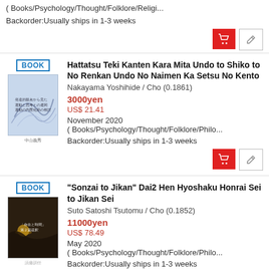( Books/Psychology/Thought/Folklore/Religi...
Backorder:Usually ships in 1-3 weeks
BOOK
[Figure (illustration): Book cover with wave/curved line design on light blue-grey background with Japanese text]
Hattatsu Teki Kanten Kara Mita Undo to Shiko to No Renkan Undo No Naimen Ka Setsu No Kento
Nakayama Yoshihide / Cho (0.1861)
3000yen
US$ 21.41
November 2020
( Books/Psychology/Thought/Folklore/Philo...
Backorder:Usually ships in 1-3 weeks
BOOK
[Figure (illustration): Book cover with dark brown/black night scene, Japanese text in white]
"Sonzai to Jikan" Dai2 Hen Hyoshaku Honrai Sei to Jikan Sei
Suto Satoshi Tsutomu / Cho (0.1852)
11000yen
US$ 78.49
May 2020
( Books/Psychology/Thought/Folklore/Philo...
Backorder:Usually ships in 1-3 weeks